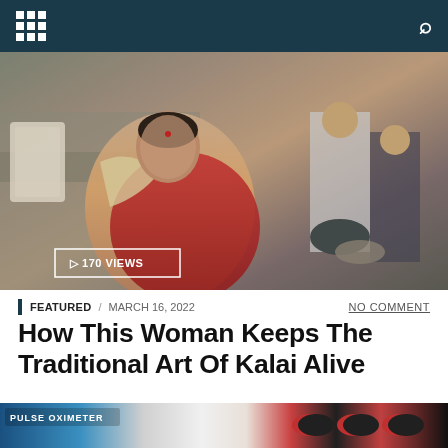Navigation bar with grid menu icon and search icon
[Figure (photo): A woman wearing a red sari and beige shawl in an outdoor urban setting, with people in the background. An overlay badge reads '170 VIEWS'.]
FEATURED / MARCH 16, 2022   NO COMMENT
How This Woman Keeps The Traditional Art Of Kalai Alive
[Figure (photo): Partial image showing a blue pulse oximeter device and red-and-black capsule pills in packaging.]